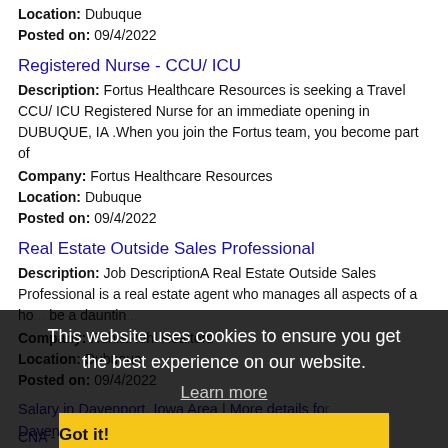Location: Dubuque
Posted on: 09/4/2022
Registered Nurse - CCU/ ICU
Description: Fortus Healthcare Resources is seeking a Travel CCU/ ICU Registered Nurse for an immediate opening in DUBUQUE, IA .When you join the Fortus team, you become part of
Company: Fortus Healthcare Resources
Location: Dubuque
Posted on: 09/4/2022
Real Estate Outside Sales Professional
Description: Job DescriptionA Real Estate Outside Sales Professional is a real estate agent who manages all aspects of a ho... be a dauntin...
Company: Ruhl&Ruhl Realtors
Location: Dubuque
Posted on: 09/4/2022
This website uses cookies to ensure you get the best experience on our website. Learn more Got it!
Salary in Davenport, Iowa Area | More details for Davenport, Iowa Jobs |Salary
CNA - Dyersville Senior Care - Part Time - Evenings - 32